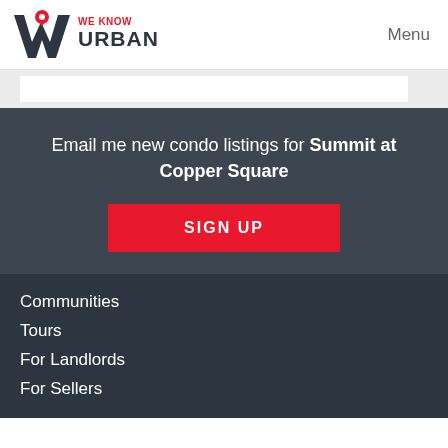WE KNOW URBAN  Menu
Email me new condo listings for Summit at Copper Square
SIGN UP
Communities
Tours
For Landlords
For Sellers